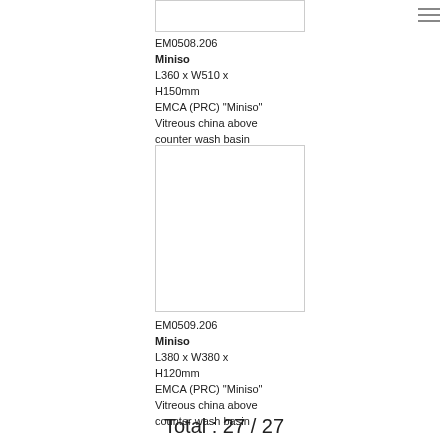[Figure (photo): White rectangle image placeholder for product EM0508.206 Miniso wash basin - top portion visible]
EM0508.206
Miniso
L360 x W510 x H150mm
EMCA (PRC) "Miniso" Vitreous china above counter wash basin
[Figure (photo): White rectangle image placeholder for product EM0509.206 Miniso square wash basin]
EM0509.206
Miniso
L380 x W380 x H120mm
EMCA (PRC) "Miniso" Vitreous china above counter wash basin
Total : 27 / 27